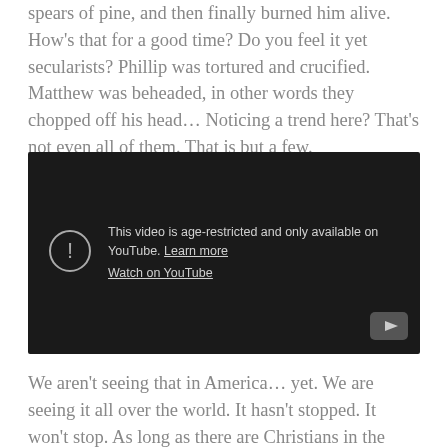spears of pine, and then finally burned him alive. How's that for a good time? Do you feel it yet secularists? Phillip was tortured and crucified. Matthew was beheaded, in other words they chopped off his head… Noticing a trend here? That's not even all of them. That is but a few.
[Figure (screenshot): Embedded YouTube video player showing age-restriction message: 'This video is age-restricted and only available on YouTube. Learn more' and 'Watch on YouTube' link, with YouTube logo icon in bottom-right corner.]
We aren't seeing that in America… yet. We are seeing it all over the world. It hasn't stopped. It won't stop. As long as there are Christians in the world the world will hate